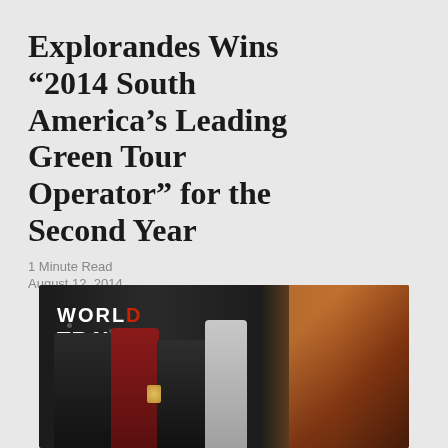Explorandes Wins “2014 South America’s Leading Green Tour Operator” for the Second Year
1 Minute Read
August 12, 2014
[Figure (photo): Group photo of four people standing on a stage at the World Travel Awards ceremony. A woman in a red dress holds a trophy. Text on backdrop reads WORLD TRAVEL AWARDS with a decorative face/profile on the right side.]